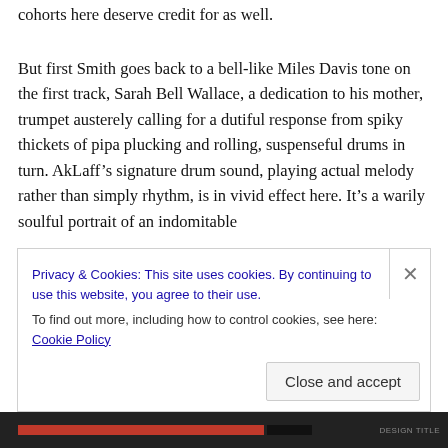cohorts here deserve credit for as well.
But first Smith goes back to a bell-like Miles Davis tone on the first track, Sarah Bell Wallace, a dedication to his mother, trumpet austerely calling for a dutiful response from spiky thickets of pipa plucking and rolling, suspenseful drums in turn. AkLaff’s signature drum sound, playing actual melody rather than simply rhythm, is in vivid effect here. It’s a warily soulful portrait of an indomitable
Privacy & Cookies: This site uses cookies. By continuing to use this website, you agree to their use.
To find out more, including how to control cookies, see here: Cookie Policy
Close and accept